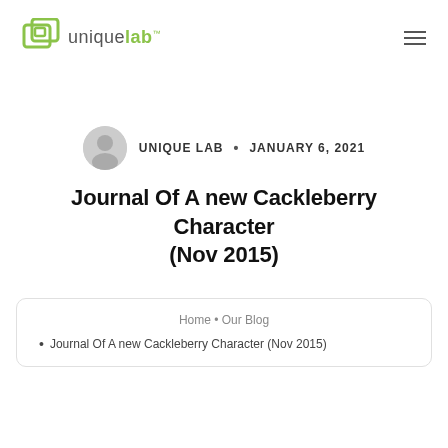uniquelab™
UNIQUE LAB • JANUARY 6, 2021
Journal Of A new Cackleberry Character (Nov 2015)
Home • Our Blog
• Journal Of A new Cackleberry Character (Nov 2015)